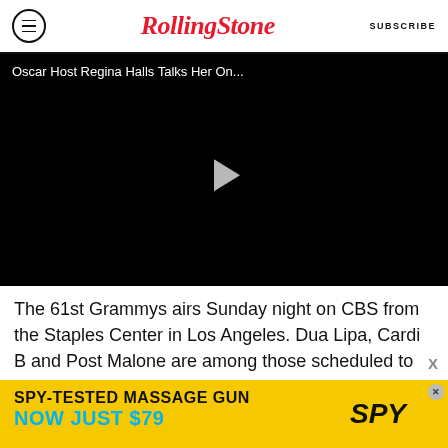Rolling Stone | SUBSCRIBE
[Figure (screenshot): Black video player with title text 'Oscar Host Regina Halls Talks Her On...' and a grey play button triangle in center]
The 61st Grammys airs Sunday night on CBS from the Staples Center in Los Angeles. Dua Lipa, Cardi B and Post Malone are among those scheduled to perform, with Alicia Keys hosting the three-and-a-half hour live show.
[Figure (infographic): Advertisement banner: SPY-TESTED MASSAGE GUN NOW JUST $79 with SPY logo on yellow background]